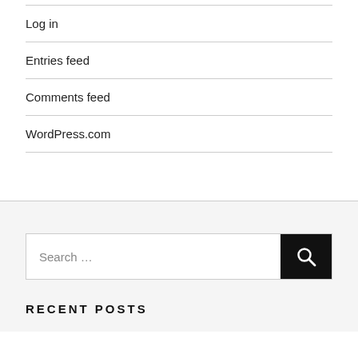Log in
Entries feed
Comments feed
WordPress.com
[Figure (other): Search input box with a black search button containing a magnifying glass icon]
RECENT POSTS